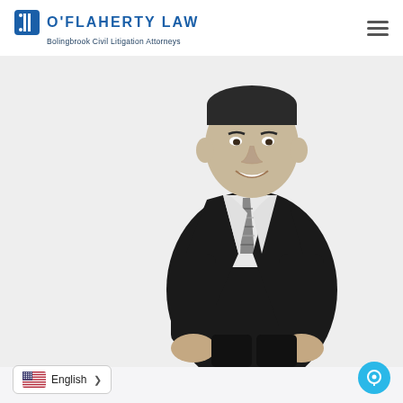[Figure (logo): O'Flaherty Law logo with blue icon and text, subtitle 'Bolingbrook Civil Litigation Attorneys']
[Figure (photo): Black and white professional photo of a male attorney in a dark suit with a patterned tie, smiling, hands in pockets, standing against a light background]
English
[Figure (other): Chat button (blue circle with chat icon) in bottom right corner]